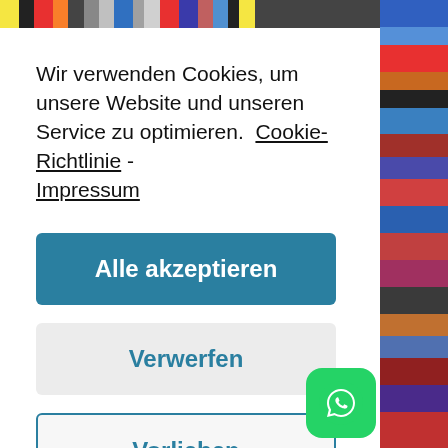[Figure (illustration): Colorful diagonal stripe bar across top of page]
Wir verwenden Cookies, um unsere Website und unseren Service zu optimieren.  Cookie-Richtlinie - Impressum
Alle akzeptieren
Verwerfen
Vorlieben
[Figure (logo): WhatsApp icon, green rounded square with white phone/chat bubble icon]